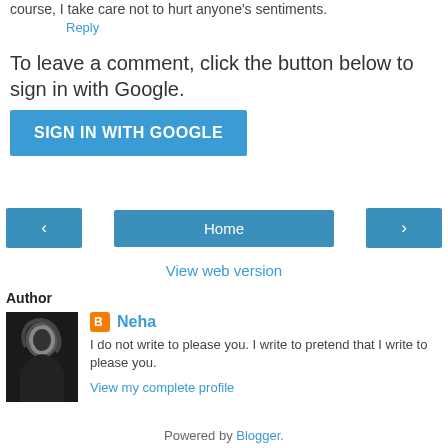course, I take care not to hurt anyone's sentiments.
Reply
To leave a comment, click the button below to sign in with Google.
[Figure (other): SIGN IN WITH GOOGLE button (blue rectangle with white text)]
[Figure (other): Navigation bar with left arrow, Home button, and right arrow]
View web version
Author
[Figure (photo): Black and white profile photo of author Neha]
Neha
I do not write to please you. I write to pretend that I write to please you.
View my complete profile
Powered by Blogger.